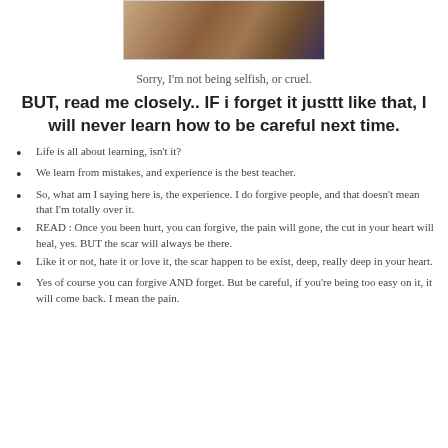[Figure (photo): Partial photo of a wooden railing/balcony scene with a person and snowy background]
Sorry, I'm not being selfish, or cruel.
BUT, read me closely.. IF i forget it justtt like that, I will never learn how to be careful next time.
Life is all about learning, isn't it?
We learn from mistakes, and experience is the best teacher.
So, what am I saying here is, the experience. I do forgive people, and that doesn't mean that I'm totally over it.
READ : Once you been hurt, you can forgive, the pain will gone, the cut in your heart will heal, yes. BUT the scar will always be there.
Like it or not, hate it or love it, the scar happen to be exist, deep, really deep in your heart.
Yes of course you can forgive AND forget. But be careful, if you're being too easy on it, it will come back. I mean the pain.